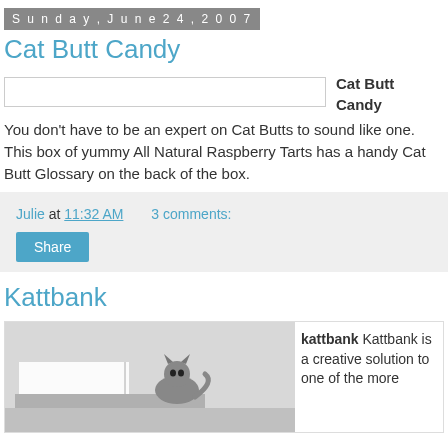Sunday, June 24, 2007
Cat Butt Candy
Cat Butt Candy You don't have to be an expert on Cat Butts to sound like one. This box of yummy All Natural Raspberry Tarts has a handy Cat Butt Glossary on the back of the box.
Julie at 11:32 AM   3 comments:
Kattbank
kattbank Kattbank is a creative solution to one of the more